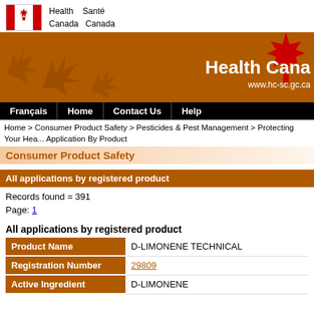Health Canada | Santé Canada
[Figure (logo): Health Canada / Santé Canada government logo with Canadian flag and maple leaf]
Health Canada
www.hc-sc.gc.ca
Français | Home | Contact Us | Help
Home > Consumer Product Safety > Pesticides & Pest Management > Protecting Your Health > Application By Product
Consumer Product Safety
All applications by registered product
Records found = 391
Page: 1
All applications by registered product
| Field | Value |
| --- | --- |
| Product Name | D-LIMONENE TECHNICAL |
| Registration Number | 29809 |
| Active Ingredient | D-LIMONENE |